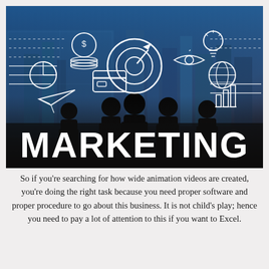[Figure (photo): Marketing concept photo: silhouettes of business people against a city skyline background with white line icons (target/bullseye with arrow, pie chart, credit card, money/coins, lightbulb, eye, globe, bar chart, paper plane) and the large bold white text 'MARKETING' at the bottom of the image.]
So if you're searching for how wide animation videos are created, you're doing the right task because you need proper software and proper procedure to go about this business. It is not child's play; hence you need to pay a lot of attention to this if you want to Excel.